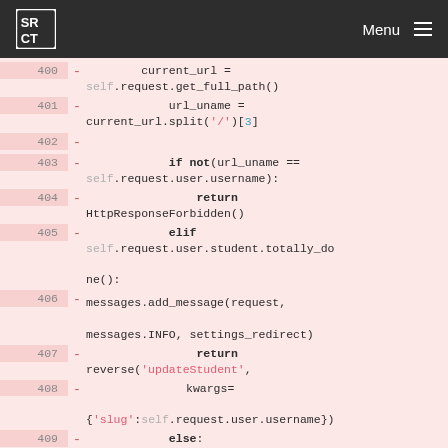SRCT Menu
[Figure (screenshot): Code diff view showing Python code lines 400-409 with line numbers, minus signs indicating removed lines, on a pink/red background. Code shows URL handling logic including current_url, url_uname, if not condition, return HttpResponseForbidden, elif condition, messages.add_message, return reverse with updateStudent, kwargs slug, and else.]